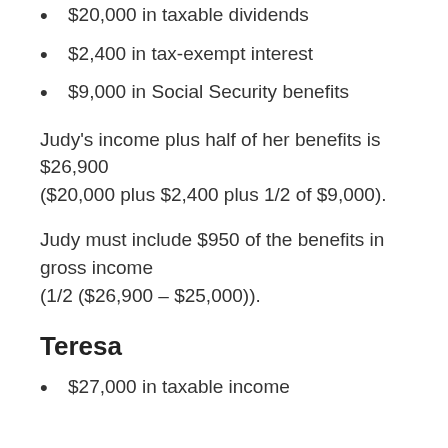$20,000 in taxable dividends
$2,400 in tax-exempt interest
$9,000 in Social Security benefits
Judy’s income plus half of her benefits is $26,900 ($20,000 plus $2,400 plus 1/2 of $9,000).
Judy must include $950 of the benefits in gross income (1/2 ($26,900 – $25,000)).
Teresa
$27,000 in taxable income